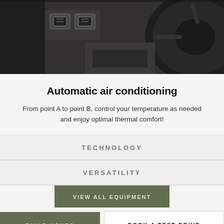[Figure (photo): Interior car photo showing USB charging ports panel and steering wheel in dark dashboard]
Automatic air conditioning
From point A to point B, control your temperature as needed and enjoy optimal thermal comfort!
TECHNOLOGY
VERSATILITY
VIEW ALL EQUIPMENT
BUILD YOURS
BOOK A TEST DRIVE